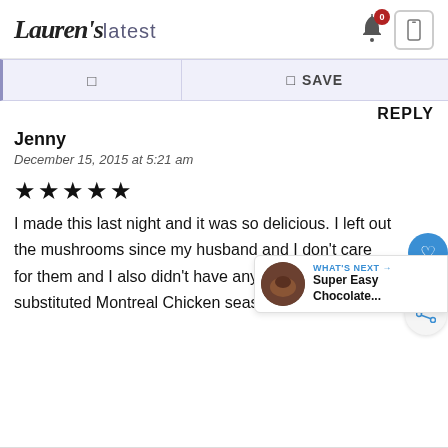Lauren's latest
☐  ☐ SAVE
REPLY
Jenny
December 15, 2015 at 5:21 am
★★★★★
I made this last night and it was so delicious. I left out the mushrooms since my husband and I don't care for them and I also didn't have any garlic salt, so I substituted Montreal Chicken seasoning. Delicious!!
3.9K
WHAT'S NEXT → Super Easy Chocolate...